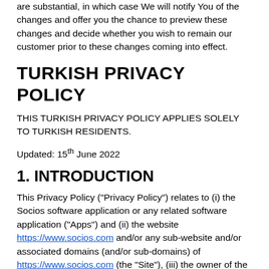are substantial, in which case We will notify You of the changes and offer you the chance to preview these changes and decide whether you wish to remain our customer prior to these changes coming into effect.
TURKISH PRIVACY POLICY
THIS TURKISH PRIVACY POLICY APPLIES SOLELY TO TURKISH RESIDENTS.
Updated: 15th June 2022
1. INTRODUCTION
This Privacy Policy (“Privacy Policy”) relates to (i) the Socios software application or any related software application (“Apps”) and (ii) the website https://www.socios.com and/or any sub-website and/or associated domains (and/or sub-domains) of https://www.socios.com (the “Site”), (iii) the owner of the Site and (iv) the services provided by Mediarex Enterprises Limited and its subsidiaries, whether direct or